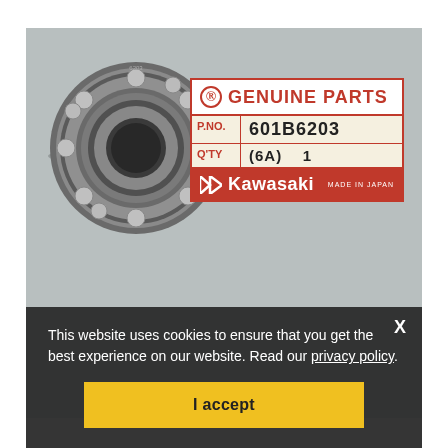[Figure (photo): Kawasaki genuine parts ball bearing (part number 601B6203, quantity 1, code 6A) shown next to its original Kawasaki Genuine Parts label on a gray background. The label features a red border, red Kawasaki logo, and 'MADE IN JAPAN' text.]
This website uses cookies to ensure that you get the best experience on our website. Read our privacy policy.
I accept